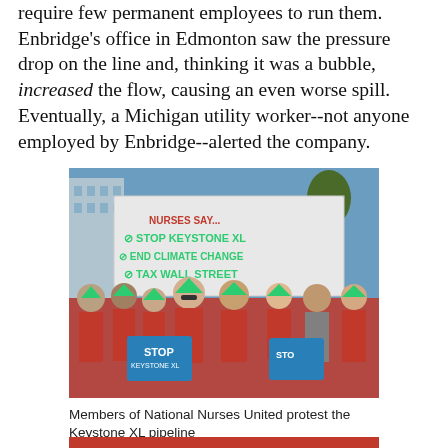require few permanent employees to run them. Enbridge's office in Edmonton saw the pressure drop on the line and, thinking it was a bubble, increased the flow, causing an even worse spill. Eventually, a Michigan utility worker--not anyone employed by Enbridge--alerted the company.
[Figure (photo): Group of people in red jackets and green hats holding signs that read 'STOP KEYSTONE XL', 'END CLIMATE CHANGE', 'TAX WALL STREET', and 'STOP KEYSTONE XL' blue signs at an outdoor protest rally.]
Members of National Nurses United protest the Keystone XL pipeline